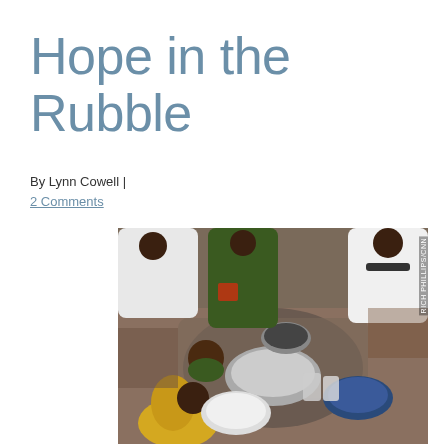Hope in the Rubble
By Lynn Cowell |
2 Comments
[Figure (photo): Aerial/overhead view of several people, including children, gathered around large pots, bowls, and containers on the ground. Scene appears to be in Haiti or similar disaster-affected area. People are wearing colorful clothing — yellow, white, green. Photo credit: RICH PHILLIPS/CNN]